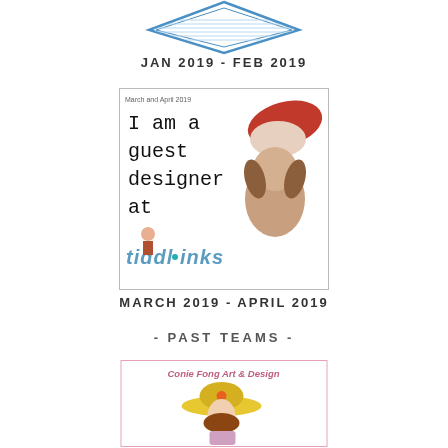[Figure (illustration): Top portion of a diamond-shaped badge with blue border and striped design, partially cropped at top]
JAN 2019 - FEB 2019
[Figure (illustration): Square badge with light border reading 'March and April 2019 - I am a guest designer at tiddly inks' with cartoon illustration of woman and dog]
MARCH 2019 - APRIL 2019
- PAST TEAMS -
[Figure (illustration): Rectangle badge with pink border reading 'Conie Fong Art & Design' with illustration of a woman in a hat]